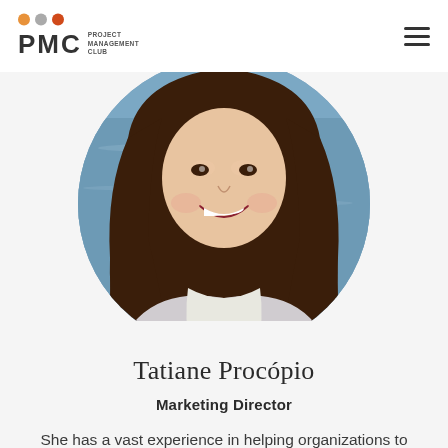PMC Project Management Club
[Figure (photo): Circular portrait photo of Tatiane Procópio, a woman with long brown hair, smiling, with a body of water visible in the background behind her.]
Tatiane Procópio
Marketing Director
She has a vast experience in helping organizations to develop and improve their internal and